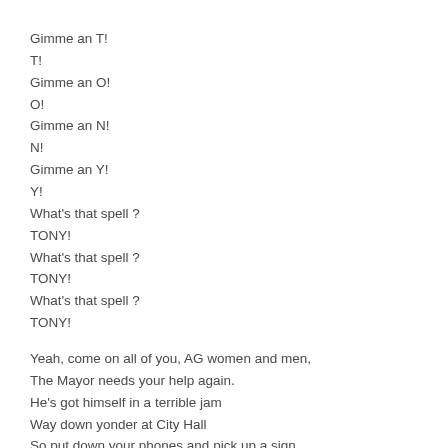Gimme an T!
T!
Gimme an O!
O!
Gimme an N!
N!
Gimme an Y!
Y!
What's that spell ?
TONY!
What's that spell ?
TONY!
What's that spell ?
TONY!

Yeah, come on all of you, AG women and men,
The Mayor needs your help again.
He's got himself in a terrible jam
Way down yonder at City Hall
So put down your phones and pick up a sign,
We're gonna have a good time.